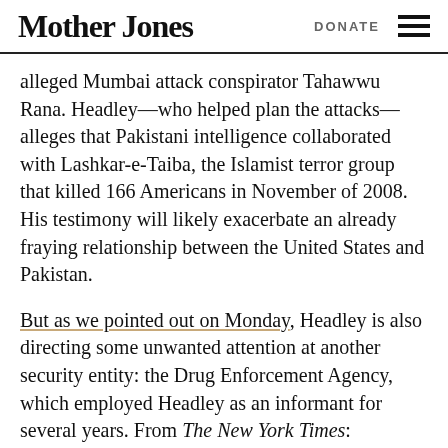Mother Jones | DONATE
alleged Mumbai attack conspirator Tahawwu Rana. Headley—who helped plan the attacks—alleges that Pakistani intelligence collaborated with Lashkar-e-Taiba, the Islamist terror group that killed 166 Americans in November of 2008. His testimony will likely exacerbate an already fraying relationship between the United States and Pakistan.
But as we pointed out on Monday, Headley is also directing some unwanted attention at another security entity: the Drug Enforcement Agency, which employed Headley as an informant for several years. From The New York Times: